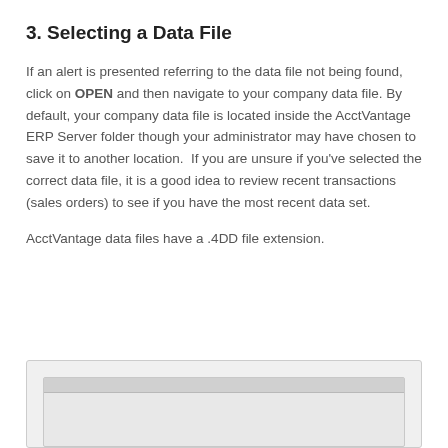3. Selecting a Data File
If an alert is presented referring to the data file not being found, click on OPEN and then navigate to your company data file. By default, your company data file is located inside the AcctVantage ERP Server folder though your administrator may have chosen to save it to another location.  If you are unsure if you've selected the correct data file, it is a good idea to review recent transactions (sales orders) to see if you have the most recent data set.
AcctVantage data files have a .4DD file extension.
[Figure (screenshot): Partial screenshot of a dialog or window showing a gray toolbar area at the top, partially cropped at the bottom of the page.]